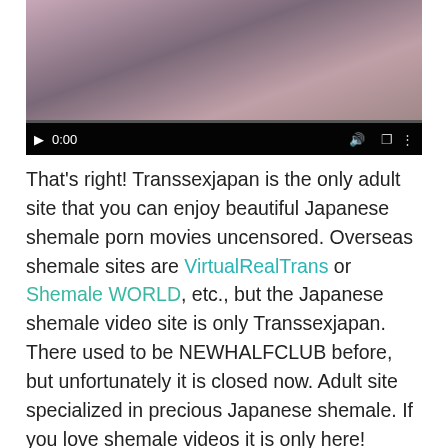[Figure (screenshot): Video player screenshot showing a person lying down, with playback controls showing 0:00 timestamp, volume and fullscreen icons at the bottom.]
That's right! Transsexjapan is the only adult site that you can enjoy beautiful Japanese shemale porn movies uncensored. Overseas shemale sites are VirtualRealTrans or Shemale WORLD, etc., but the Japanese shemale video site is only Transsexjapan. There used to be NEWHALFCLUB before, but unfortunately it is closed now. Adult site specialized in precious Japanese shemale. If you love shemale videos it is only here!